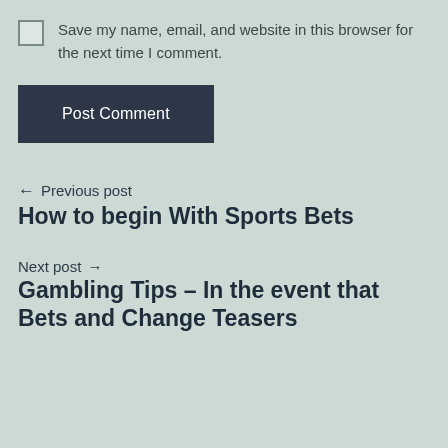Save my name, email, and website in this browser for the next time I comment.
Post Comment
← Previous post
How to begin With Sports Bets
Next post →
Gambling Tips – In the event that Bets and Change Teasers